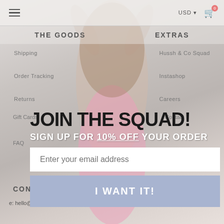≡  USD ▾  🛒 0
THE GOODS    EXTRAS
Shipping
Hussh & Co Squad
Order Tracking
Instashop
Returns
Careers
Gift Cards
Contact
JOIN THE SQUAD!
SIGN UP FOR 10% OFF YOUR ORDER
Enter your email address
I WANT IT!
FAQ
CONTACT
e: hello@hussh.com    e: marketing@hussh.com